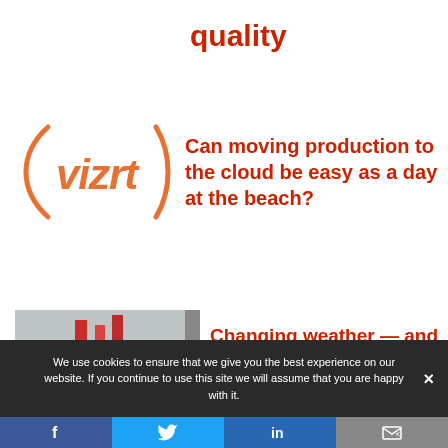quality
[Figure (logo): Vizrt logo with orange brackets and italic text]
Can moving production to the cloud be easy as a day at the beach?
[Figure (photo): Weather radar or storm imagery with red graphic overlays and caption about Tornado Warning for Southeastern Management question]
Changing weather — and technology — create opportunities to produce more
We use cookies to ensure that we give you the best experience on our website. If you continue to use this site we will assume that you are happy with it.
Facebook | Twitter | LinkedIn | Email